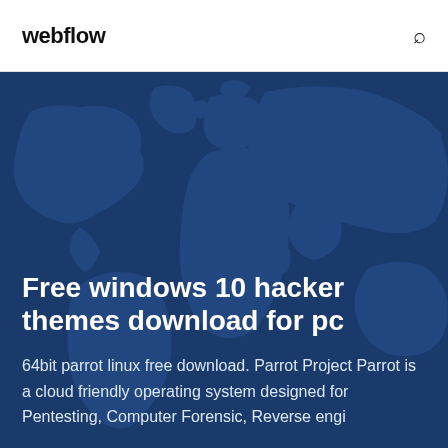webflow
[Figure (illustration): Dark blue hero section with a world map silhouette in a slightly lighter blue tone as background]
Free windows 10 hacker themes download for pc
64bit parrot linux free download. Parrot Project Parrot is a cloud friendly operating system designed for Pentesting, Computer Forensic, Reverse engi